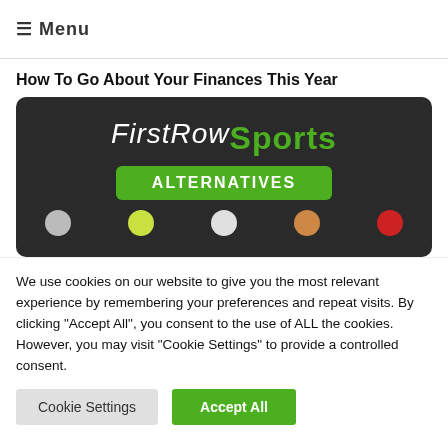☰ Menu
How To Go About Your Finances This Year
[Figure (illustration): FirstRow Sports Alternatives banner image with dark background, white cursive 'FirstRow' text, green bold 'Sports' text, green 'ALTERNATIVES' button, and sports balls at the bottom]
We use cookies on our website to give you the most relevant experience by remembering your preferences and repeat visits. By clicking "Accept All", you consent to the use of ALL the cookies. However, you may visit "Cookie Settings" to provide a controlled consent.
Cookie Settings  Accept All